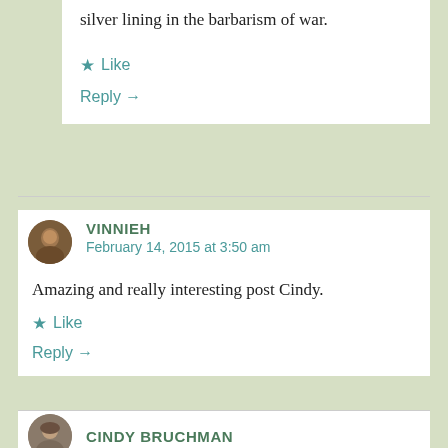silver lining in the barbarism of war.
★ Like
Reply →
VINNIEH
February 14, 2015 at 3:50 am
Amazing and really interesting post Cindy.
★ Like
Reply →
CINDY BRUCHMAN